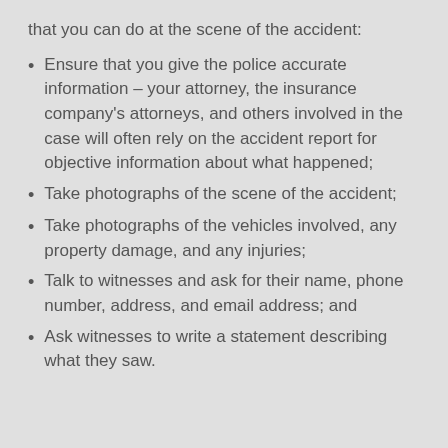that you can do at the scene of the accident:
Ensure that you give the police accurate information – your attorney, the insurance company's attorneys, and others involved in the case will often rely on the accident report for objective information about what happened;
Take photographs of the scene of the accident;
Take photographs of the vehicles involved, any property damage, and any injuries;
Talk to witnesses and ask for their name, phone number, address, and email address; and
Ask witnesses to write a statement describing what they saw.